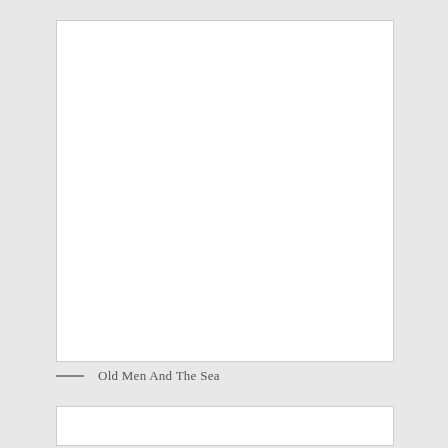[Figure (other): Large white rectangular image/picture box, mostly blank white space]
— Old Men And The Sea
[Figure (other): Partial white rectangular box visible at bottom of page]